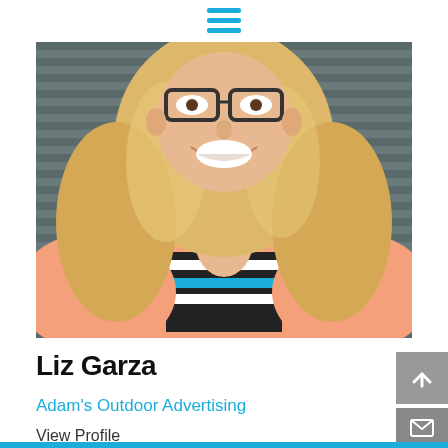[Figure (photo): Hamburger menu icon with three horizontal blue lines]
[Figure (photo): Profile photo of Liz Garza, a smiling woman with long curly blonde hair, glasses, wearing a salmon/peach cardigan over a striped top, standing in front of a gray wall]
Liz Garza
Adam's Outdoor Advertising
View Profile